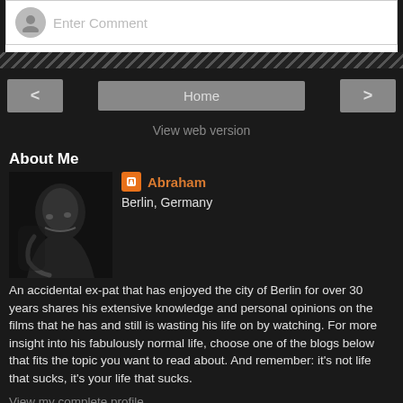[Figure (screenshot): Comment input box with grey avatar and 'Enter Comment' placeholder text]
[Figure (infographic): Navigation bar with left arrow, Home button, right arrow, and View web version link]
About Me
[Figure (photo): Black and white portrait photo of Abraham]
Abraham
Berlin, Germany
An accidental ex-pat that has enjoyed the city of Berlin for over 30 years shares his extensive knowledge and personal opinions on the films that he has and still is wasting his life on by watching. For more insight into his fabulously normal life, choose one of the blogs below that fits the topic you want to read about. And remember: it's not life that sucks, it's your life that sucks.
View my complete profile
Powered by Blogger.